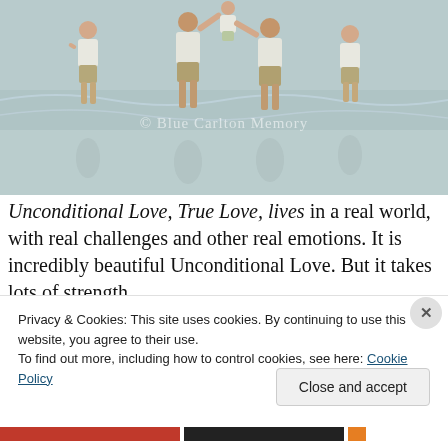[Figure (photo): Family at the beach. Four people in white shirts and khaki shorts playing at the shoreline. Two adults appear to be swinging a small child between them. Soft, muted tones. Watermark reads '© Blue Carlton Memory' overlaid on the image.]
Unconditional Love, True Love, lives in a real world, with real challenges and other real emotions. It is incredibly beautiful Unconditional Love. But it takes lots of strength,
Privacy & Cookies: This site uses cookies. By continuing to use this website, you agree to their use.
To find out more, including how to control cookies, see here: Cookie Policy
Close and accept